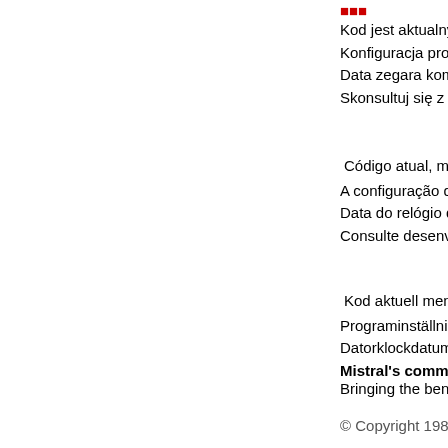Kod jest aktualny, ale konfiguracja prog… Konfiguracja programu jest aktualna, ale kod… Data zegara komputera jest nieprawidłowo u… Skonsultuj się z programistami. Czytaj więcej
Código atual, mas a configuração do pr… A configuração do programa é atual, mas o c… Data do relógio do computador definida inco… Consulte desenvolvedores. Consulte Mais in…
Kod aktuell men programinställning är i… Programinställning aktuell men kod är inte. L… Datorklockdatum är felaktigt inställt. Konsulte…
Mistral's commitment:
Bringing the benefits of computerisation to ou…
© Copyright 1984-2022 Mistral Associates. All righ…